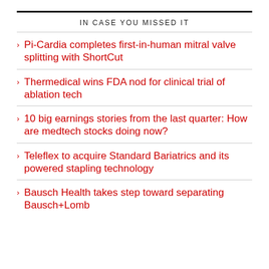IN CASE YOU MISSED IT
Pi-Cardia completes first-in-human mitral valve splitting with ShortCut
Thermedical wins FDA nod for clinical trial of ablation tech
10 big earnings stories from the last quarter: How are medtech stocks doing now?
Teleflex to acquire Standard Bariatrics and its powered stapling technology
Bausch Health takes step toward separating Bausch+Lomb